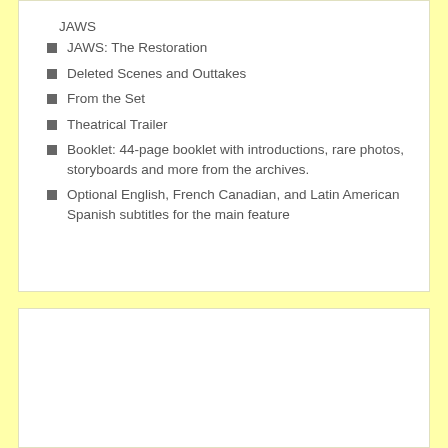JAWS
JAWS: The Restoration
Deleted Scenes and Outtakes
From the Set
Theatrical Trailer
Booklet: 44-page booklet with introductions, rare photos, storyboards and more from the archives.
Optional English, French Canadian, and Latin American Spanish subtitles for the main feature